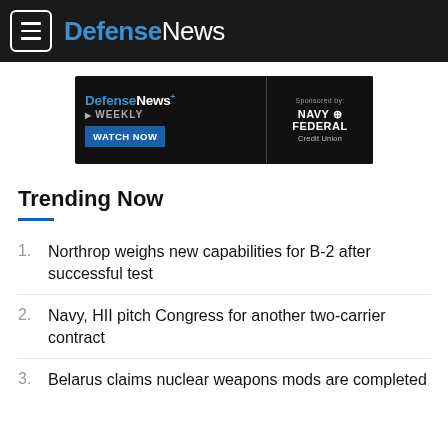DefenseNews
[Figure (infographic): DefenseNews Weekly advertisement banner with WATCH NOW button, sponsored by Navy Federal Credit Union]
Trending Now
1. Northrop weighs new capabilities for B-2 after successful test
2. Navy, HII pitch Congress for another two-carrier contract
3. Belarus claims nuclear weapons mods are completed